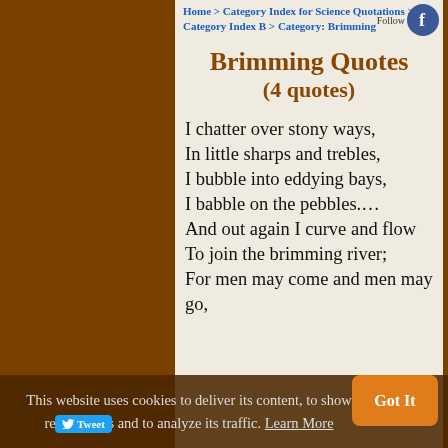Home > Category Index for Science Quotations > Category Index B > Category: Brimming
Brimming Quotes (4 quotes)
I chatter over stony ways,
In little sharps and trebles,
I bubble into eddying bays,
I babble on the pebbles.…
And out again I curve and flow
To join the brimming river;
For men may come and men may go,
This website uses cookies to deliver its content, to show relevant ads and to analyze its traffic. Learn More
Got It